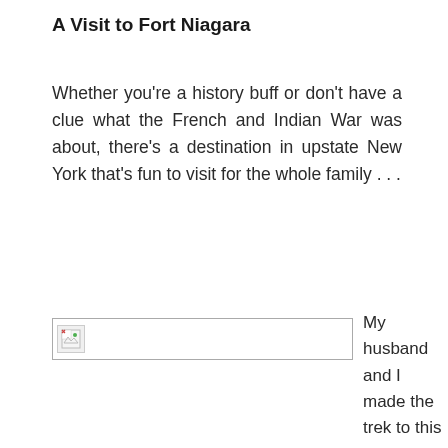A Visit to Fort Niagara
Whether you're a history buff or don't have a clue what the French and Indian War was about, there's a destination in upstate New York that's fun to visit for the whole family . . .
[Figure (photo): Image placeholder showing a small broken image icon in the top-left corner of a white rectangle with a border]
My husband and I made the trek to this living history site last summer. I had no idea